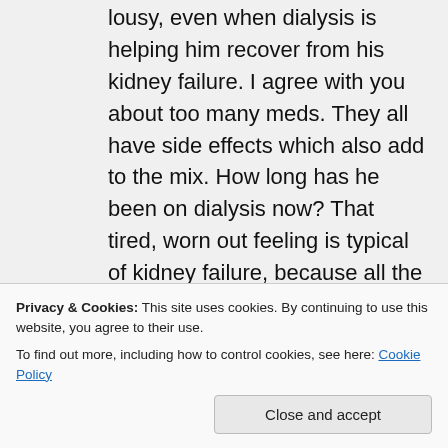lousy, even when dialysis is helping him recover from his kidney failure. I agree with you about too many meds. They all have side effects which also add to the mix. How long has he been on dialysis now? That tired, worn out feeling is typical of kidney failure, because all the toxins that used to be filtered out by the kidneys stay floating around in the body. Once he is on the right dialysis regimen, he should start to feel healthier and more energetic after a
Privacy & Cookies: This site uses cookies. By continuing to use this website, you agree to their use.
To find out more, including how to control cookies, see here: Cookie Policy
between using a perma cath and his fistula,